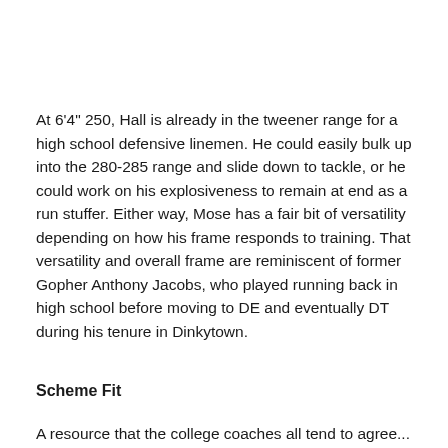At 6'4" 250, Hall is already in the tweener range for a high school defensive linemen. He could easily bulk up into the 280-285 range and slide down to tackle, or he could work on his explosiveness to remain at end as a run stuffer. Either way, Mose has a fair bit of versatility depending on how his frame responds to training. That versatility and overall frame are reminiscent of former Gopher Anthony Jacobs, who played running back in high school before moving to DE and eventually DT during his tenure in Dinkytown.
Scheme Fit
A resource that the college coaches all tend to agree...